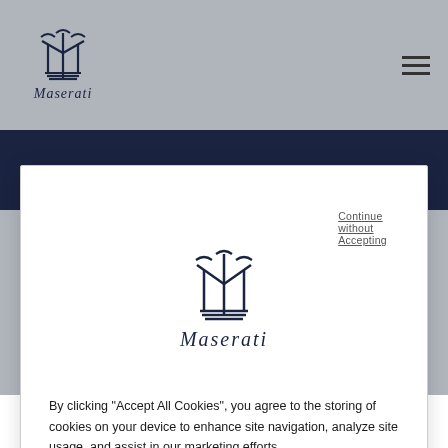Maserati logo and navigation header
F.L.C. MODENA AUTOMOBILE
Continue without Accepting
[Figure (logo): Maserati trident logo and wordmark inside cookie consent modal]
By clicking “Accept All Cookies”, you agree to the storing of cookies on your device to enhance site navigation, analyze site usage, and assist in our marketing efforts.
Cookies Settings
Accept All Cookies
Just like the wind moves the sails and leads the trimaran to victory, it is once again a wind to carry a new model